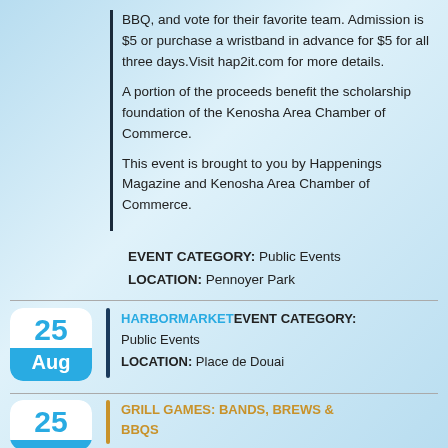BBQ, and vote for their favorite team. Admission is $5 or purchase a wristband in advance for $5 for all three days.Visit hap2it.com for more details.
A portion of the proceeds benefit the scholarship foundation of the Kenosha Area Chamber of Commerce.
This event is brought to you by Happenings Magazine and Kenosha Area Chamber of Commerce.
EVENT CATEGORY: Public Events
LOCATION: Pennoyer Park
HARBORMARKET EVENT CATEGORY: Public Events
LOCATION: Place de Douai
GRILL GAMES: BANDS, BREWS & BBQS